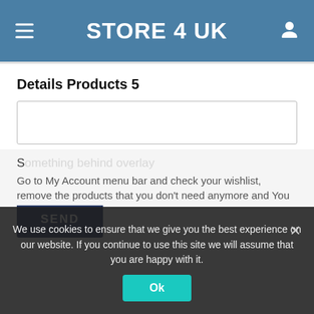STORE 4 UK
Details Products 5
This site is protected by reCAPTCHA and the Google Privacy Policy and Terms of Service apply.
SEND
We use cookies to ensure that we give you the best experience on our website. If you continue to use this site we will assume that you are happy with it.
Ok